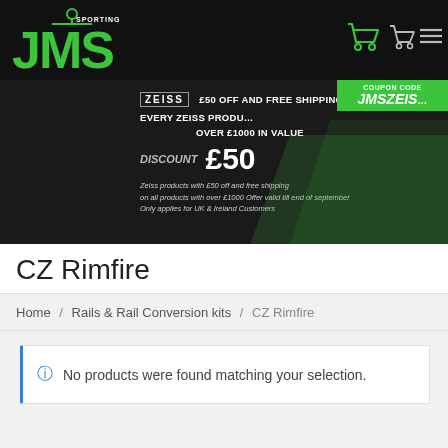[Figure (logo): JMS Sporting logo in green on black background with cart icons and hamburger menu]
[Figure (infographic): Zeiss promotion banner: £50 OFF AND FREE SHIPPING EVERY ZEISS PRODUCT OVER £1000 IN VALUE. DISCOUNT £50. COUPON CODE JMSZEIS. Zeiss products with £50 off and free shipping on all products with over £1000 Offer valid till end of september. Only applies for UK & Ireland Customers.]
CZ Rimfire
Home / Rails & Rail Conversion kits / CZ Rimfire
No products were found matching your selection.